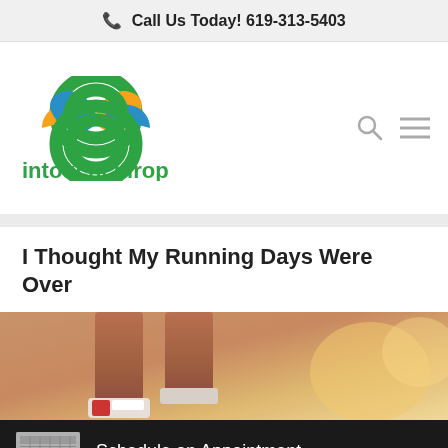Call Us Today! 619-313-5403
[Figure (logo): InTouch Chiropractic logo with interlocking rings in green, orange, and blue, with text 'intouchchiropractic' in green]
I Thought My Running Days Were Over
[Figure (photo): Close-up photo of a runner's legs/feet in running shoes, warm golden background]
Schedule an Appointment
619-313-5403